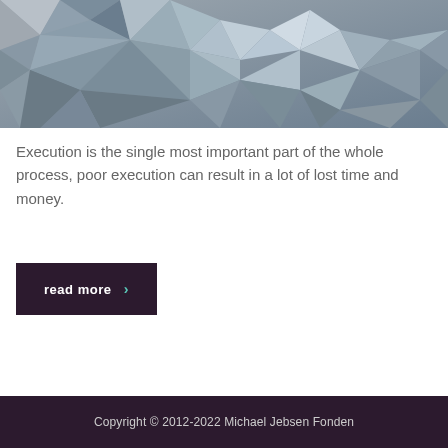[Figure (illustration): Abstract low-poly geometric background image in shades of grey and blue-grey, made up of polygon facets.]
Execution is the single most important part of the whole process, poor execution can result in a lot of lost time and money.
read more ›
Copyright © 2012-2022 Michael Jebsen Fonden